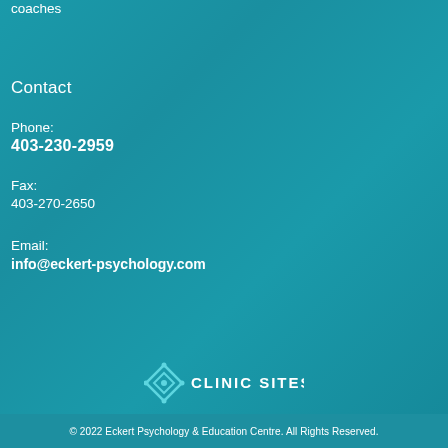coaches
Contact
Phone:
403-230-2959
Fax:
403-270-2650
Email:
info@eckert-psychology.com
[Figure (logo): Clinic Sites logo with teal diamond/cross icon and text CLINIC SITES]
© 2022 Eckert Psychology & Education Centre. All Rights Reserved.